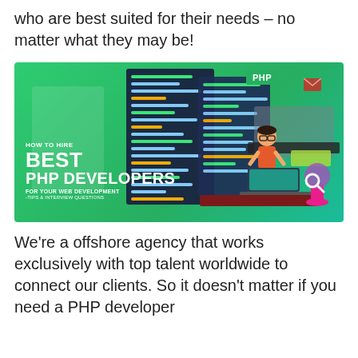who are best suited for their needs – no matter what they may be!
[Figure (illustration): Promotional graphic with green gradient background showing a PHP developer at a desk with code panels, text reading 'HOW TO HIRE BEST PHP DEVELOPERS FOR YOUR WEB DEVELOPMENT -TIPS & INTERVIEW QUESTIONS', PHP badge at top]
We're a offshore agency that works exclusively with top talent worldwide to connect our clients. So it doesn't matter if you need a PHP developer